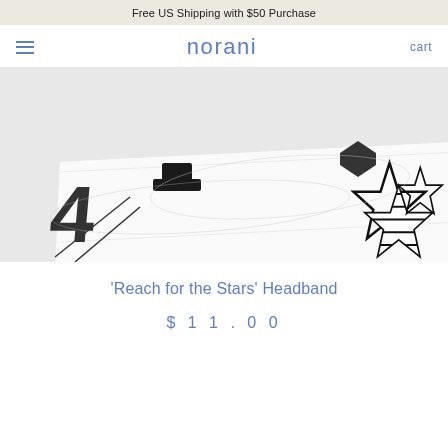Free US Shipping with $50 Purchase
norani  ≡  cart
[Figure (photo): Close-up photo of a white fabric headband with black star and hat illustrations printed on it, shown at an angle on a white background.]
'Reach for the Stars' Headband
$11.00